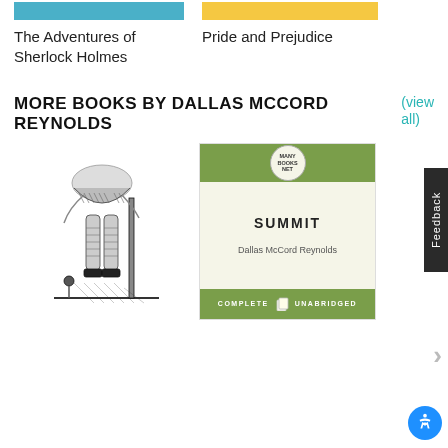[Figure (illustration): Blue book cover thumbnail for The Adventures of Sherlock Holmes]
The Adventures of Sherlock Holmes
[Figure (illustration): Yellow book cover thumbnail for Pride and Prejudice]
Pride and Prejudice
MORE BOOKS BY DALLAS MCCORD REYNOLDS
(view all)
[Figure (illustration): Black and white pen illustration of a figure in stockings]
[Figure (illustration): Book cover for Summit by Dallas McCord Reynolds, green and cream Penguin-style cover with Many Books Net badge, COMPLETE UNABRIDGED at bottom]